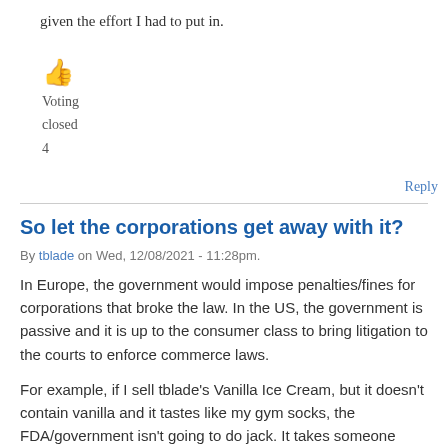given the effort I had to put in.
[Figure (illustration): Thumbs up emoji in orange/yellow color]
Voting
closed
4
Reply
So let the corporations get away with it?
By tblade on Wed, 12/08/2021 - 11:28pm.
In Europe, the government would impose penalties/fines for corporations that broke the law. In the US, the government is passive and it is up to the consumer class to bring litigation to the courts to enforce commerce laws.
For example, if I sell tblade's Vanilla Ice Cream, but it doesn't contain vanilla and it tastes like my gym socks, the FDA/government isn't going to do jack. It takes someone